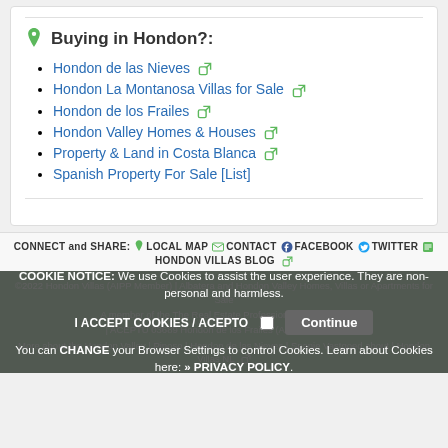Buying in Hondon?:
Hondon de las Nieves
Hondon La Montanosa Villas for Sale
Hondon de los Frailes
Hondon Valley Homes & Houses
Property & Land in Costa Blanca
Spanish Property For Sale [List]
CONNECT and SHARE: LOCAL MAP CONTACT FACEBOOK TWITTER HONDON VILLAS BLOG
©2022 Hondon Villas (AIPP Member) | Albatera and Hondon Valley Homes, Villas or Apartments for Sale A member of the The Real Estate Professionals (AIPP) | ACEPTU 03689 Hondon de los Frailes (Alicante) Spain More about the Hondon Valley | Pinoso | Hondon de las Nieves | Spanje Vastgoed about | Hondon Villas NL
COOKIE NOTICE: We use Cookies to assist the user experience. They are non-personal and harmless. I ACCEPT COOKIES / ACEPTO Continue You can CHANGE your Browser Settings to control Cookies. Learn about Cookies here: » PRIVACY POLICY.